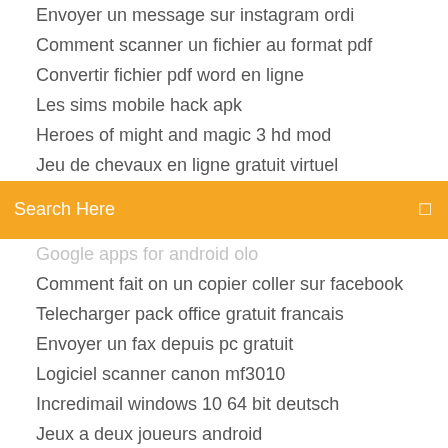Envoyer un message sur instagram ordi
Comment scanner un fichier au format pdf
Convertir fichier pdf word en ligne
Les sims mobile hack apk
Heroes of might and magic 3 hd mod
Jeu de chevaux en ligne gratuit virtuel
[Figure (screenshot): Orange search bar with text 'Search Here' and a small icon on the right]
Google apps for android olo
Comment fait on un copier coller sur facebook
Telecharger pack office gratuit francais
Envoyer un fax depuis pc gratuit
Logiciel scanner canon mf3010
Incredimail windows 10 64 bit deutsch
Jeux a deux joueurs android
Télécharger windows media player 12 pour windows 10 64 bit
Plante vs zombie garden warfare 2 ecran scindé
Ma boite mail hotmail